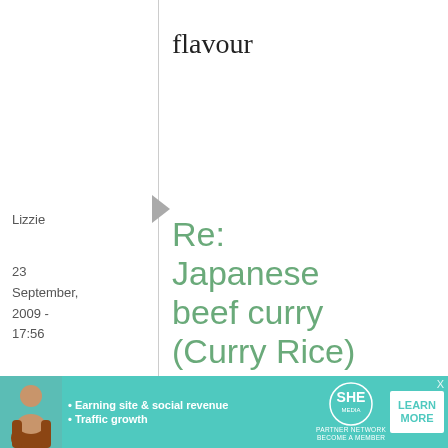flavour
Lizzie
23 September, 2009 - 17:56
permalink
Re: Japanese beef curry (Curry Rice)
I may be overlooking something really obvious, but I've read this through a few
[Figure (other): Advertisement banner for SHE Partner Network with text: Earning site & social revenue, Traffic growth, LEARN MORE button]
X